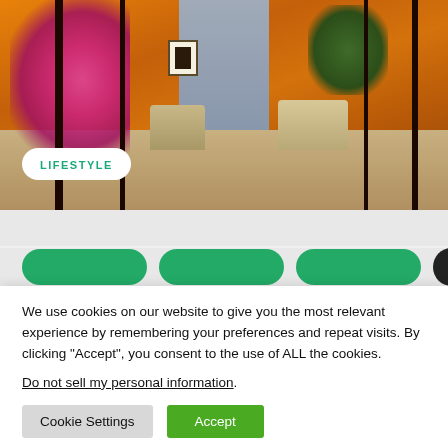[Figure (photo): Lifestyle photo of a modern building exterior/patio with warm amber wood-paneled walls, a grey central panel, pink blossom trees, lounge chairs, and a green plant, viewed through dark tree trunks]
LIFESTYLE
We use cookies on our website to give you the most relevant experience by remembering your preferences and repeat visits. By clicking “Accept”, you consent to the use of ALL the cookies.
Do not sell my personal information.
Cookie Settings
Accept